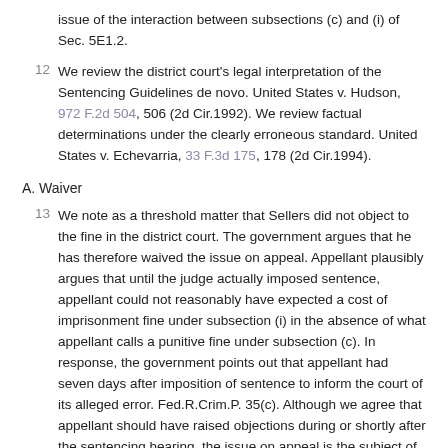issue of the interaction between subsections (c) and (i) of Sec. 5E1.2.
12 We review the district court's legal interpretation of the Sentencing Guidelines de novo. United States v. Hudson, 972 F.2d 504, 506 (2d Cir.1992). We review factual determinations under the clearly erroneous standard. United States v. Echevarria, 33 F.3d 175, 178 (2d Cir.1994).
A. Waiver
13 We note as a threshold matter that Sellers did not object to the fine in the district court. The government argues that he has therefore waived the issue on appeal. Appellant plausibly argues that until the judge actually imposed sentence, appellant could not reasonably have expected a cost of imprisonment fine under subsection (i) in the absence of what appellant calls a punitive fine under subsection (c). In response, the government points out that appellant had seven days after imposition of sentence to inform the court of its alleged error. Fed.R.Crim.P. 35(c). Although we agree that appellant should have raised objections during or shortly after the sentencing hearing, the issue on appeal is the subject of a circuit split and has not yet